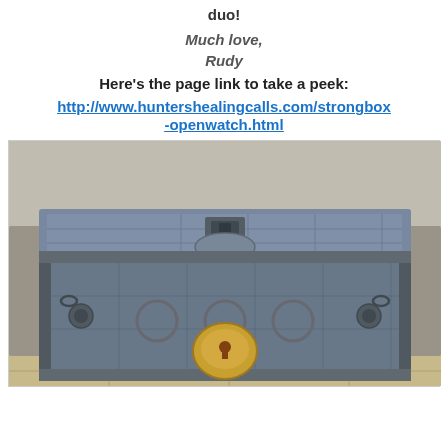duo!
Much love,
Rudy
Here's the page link to take a peek:
http://www.huntershealingcalls.com/strongbox-openwatch.html
[Figure (photo): Photo of an antique iron strongbox/safe with decorative metal panels, a large brass padlock on the front, and a lock mechanism on top, sitting on a stone ledge.]